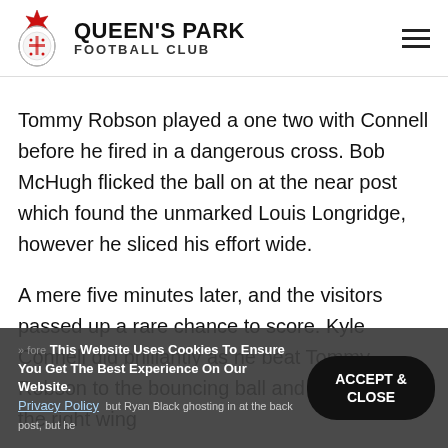QUEEN'S PARK FOOTBALL CLUB
Tommy Robson played a one two with Connell before he fired in a dangerous cross. Bob McHugh flicked the ball on at the near post which found the unmarked Louis Longridge, however he sliced his effort wide.
A mere five minutes later, and the visitors passed up a rare chance to score. Kyle Connell did brilliantly as he beat Tommy Robson to the bouncing ball and drove down the right wing before he found out Ryan Black ghosting in at the back post, but he control his vollyed effort
This Website Uses Cookies To Ensure You Get The Best Experience On Our Website. Privacy Policy